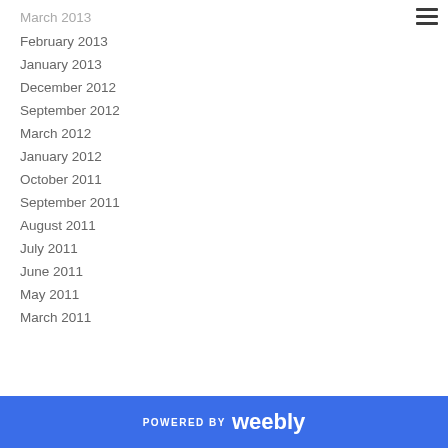March 2013
February 2013
January 2013
December 2012
September 2012
March 2012
January 2012
October 2011
September 2011
August 2011
July 2011
June 2011
May 2011
March 2011
POWERED BY weebly